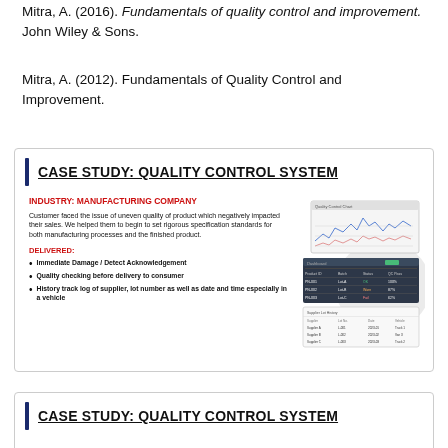Mitra, A. (2016). Fundamentals of quality control and improvement. John Wiley & Sons.
Mitra, A. (2012). Fundamentals of Quality Control and Improvement.
[Figure (screenshot): Case study box for Quality Control System - Manufacturing Company. Contains industry label in red, description text, delivered bullet points, and screenshot of a QC dashboard.]
[Figure (screenshot): Second case study box for Quality Control System, partially visible at bottom of page.]